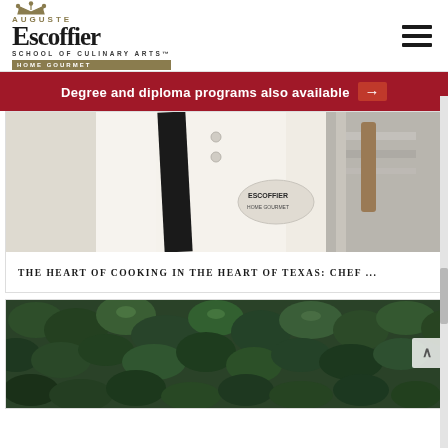[Figure (logo): Auguste Escoffier School of Culinary Arts Home Gourmet logo with crown icon]
Degree and diploma programs also available →
[Figure (photo): Close-up of a white chef jacket with Escoffier logo patch and dark apron straps]
THE HEART OF COOKING IN THE HEART OF TEXAS: CHEF ...
[Figure (photo): Close-up of dark green leafy hedge or ivy plant]